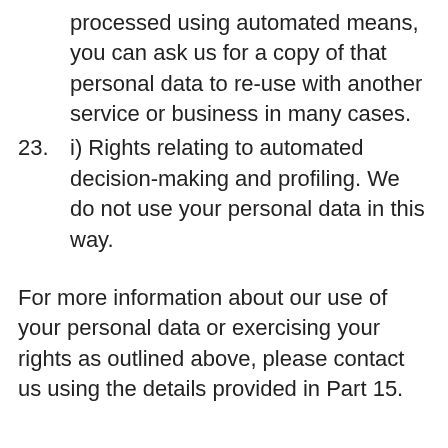processed using automated means, you can ask us for a copy of that personal data to re-use with another service or business in many cases.
23.   i)  Rights relating to automated decision-making and profiling. We do not use your personal data in this way.
For more information about our use of your personal data or exercising your rights as outlined above, please contact us using the details provided in Part 15.